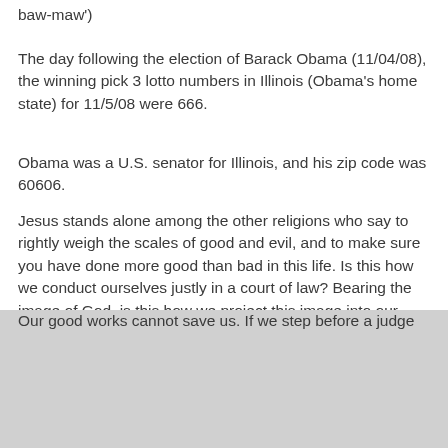baw-maw')
The day following the election of Barack Obama (11/04/08), the winning pick 3 lotto numbers in Illinois (Obama's home state) for 11/5/08 were 666.
Obama was a U.S. senator for Illinois, and his zip code was 60606.
Jesus stands alone among the other religions who say to rightly weigh the scales of good and evil, and to make sure you have done more good than bad in this life. Is this how we conduct ourselves justly in a court of law? Bearing the image of God, is this how we project this image into our reality?
Our good works cannot save us. If we step before a judge